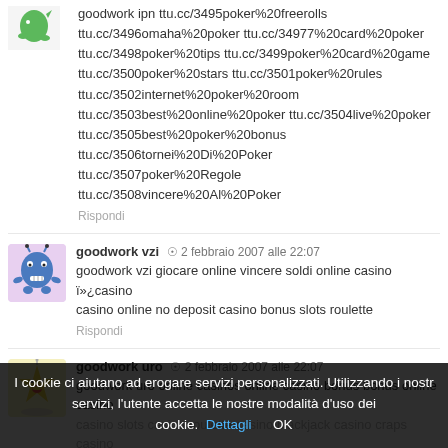goodwork ipn ttu.cc/3495poker%20freerolls ttu.cc/3496omaha%20poker ttu.cc/34977%20card%20poker ttu.cc/3498poker%20tips ttu.cc/3499poker%20card%20game ttu.cc/3500poker%20stars ttu.cc/3501poker%20rules ttu.cc/3502internet%20poker%20room ttu.cc/3503best%20online%20poker ttu.cc/3504live%20poker ttu.cc/3505best%20poker%20bonus ttu.cc/3506tornei%20Di%20Poker ttu.cc/3507poker%20Regole ttu.cc/3508vincere%20Al%20Poker
Rispondi
goodwork vzi  2 febbraio 2007 alle 22:07
goodwork vzi giocare online vincere soldi online casino ï»¿casino casino online no deposit casino bonus slots roulette
Rispondi
goodwork uro  2 febbraio 2007 alle 22:07
goodwork uro online casinos online casino bonus bonus online casino casino slots casino roulette casino blackjack casino craps casino
I cookie ci aiutano ad erogare servizi personalizzati. Utilizzando i nostri servizi, l'utente accetta le nostre modalità d'uso dei cookie. Dettagli OK